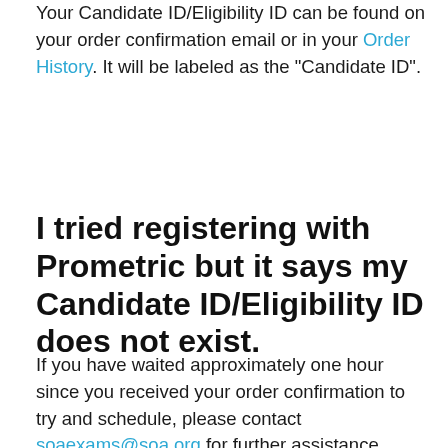Your Candidate ID/Eligibility ID can be found on your order confirmation email or in your Order History. It will be labeled as the "Candidate ID".
I tried registering with Prometric but it says my Candidate ID/Eligibility ID does not exist.
If you have waited approximately one hour since you received your order confirmation to try and schedule, please contact soaexams@soa.org for further assistance.
How do I register f...